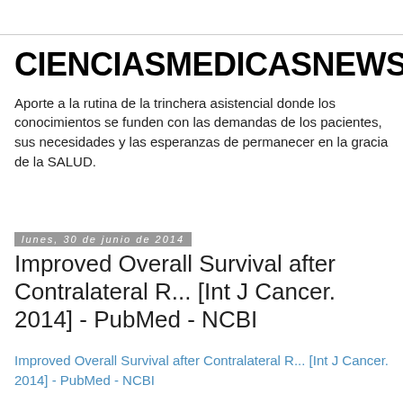CIENCIASMEDICASNEWS
Aporte a la rutina de la trinchera asistencial donde los conocimientos se funden con las demandas de los pacientes, sus necesidades y las esperanzas de permanecer en la gracia de la SALUD.
lunes, 30 de junio de 2014
Improved Overall Survival after Contralateral R... [Int J Cancer. 2014] - PubMed - NCBI
Improved Overall Survival after Contralateral R... [Int J Cancer. 2014] - PubMed - NCBI